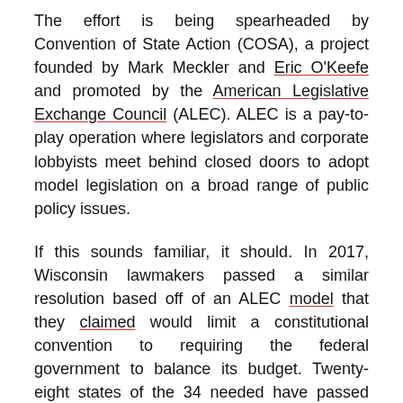The effort is being spearheaded by Convention of State Action (COSA), a project founded by Mark Meckler and Eric O'Keefe and promoted by the American Legislative Exchange Council (ALEC). ALEC is a pay-to-play operation where legislators and corporate lobbyists meet behind closed doors to adopt model legislation on a broad range of public policy issues.
If this sounds familiar, it should. In 2017, Wisconsin lawmakers passed a similar resolution based off of an ALEC model that they claimed would limit a constitutional convention to requiring the federal government to balance its budget. Twenty-eight states of the 34 needed have passed similar measures to date.
In 2020, seven balanced budget amendment resolutions have been introduced in five states, and